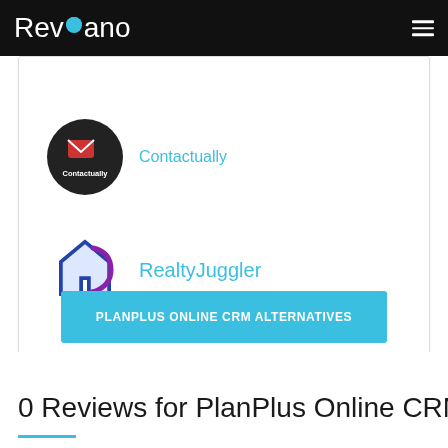Reviano
[Figure (logo): Contactually circular logo on dark background]
Contactually
[Figure (logo): RealtyJuggler logo - house/arrow icon in blue and purple]
RealtyJuggler
PLANPLUS ONLINE CRM ALTERNATIVES
0 Reviews for PlanPlus Online CRM